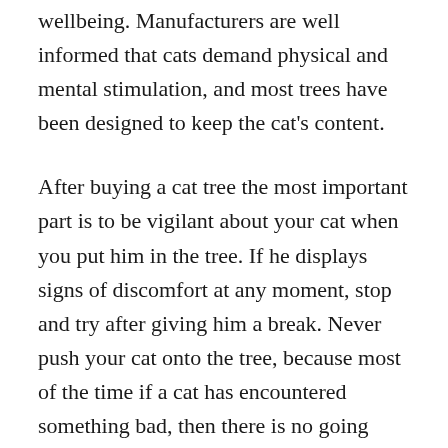wellbeing. Manufacturers are well informed that cats demand physical and mental stimulation, and most trees have been designed to keep the cat's content.
After buying a cat tree the most important part is to be vigilant about your cat when you put him in the tree. If he displays signs of discomfort at any moment, stop and try after giving him a break. Never push your cat onto the tree, because most of the time if a cat has encountered something bad, then there is no going back.